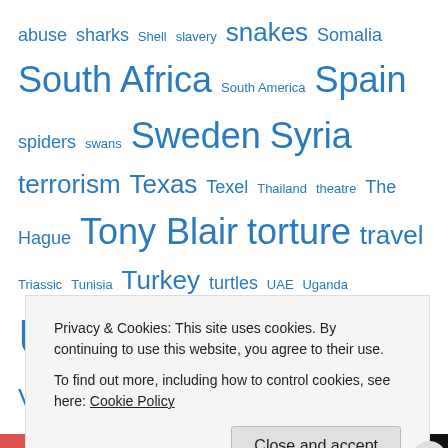abuse sharks Shell slavery snakes Somalia South Africa South America Spain spiders swans Sweden Syria terrorism Texas Texel Thailand theatre The Hague Tony Blair torture travel Triassic Tunisia Turkey turtles UAE Uganda UK Ukraine USA Utrecht Veluwe Vietnam Voorne vultures Wales whales winter wolves World War I Yemen Zeeland
Top Posts & Pages
Privacy & Cookies: This site uses cookies. By continuing to use this website, you agree to their use.
To find out more, including how to control cookies, see here: Cookie Policy
Close and accept